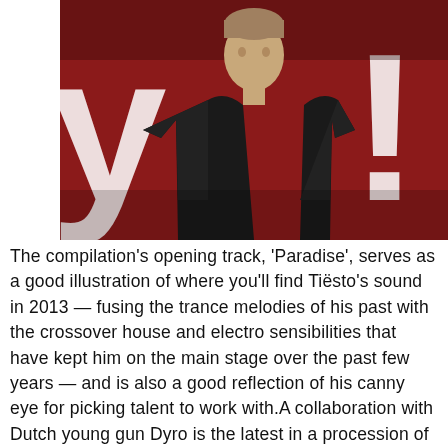[Figure (photo): A man in a dark t-shirt standing in front of a red background with white graphic lettering. The photo has a slightly warm, moody tone.]
The compilation's opening track, 'Paradise', serves as a good illustration of where you'll find Tiësto's sound in 2013 — fusing the trance melodies of his past with the crossover house and electro sensibilities that have kept him on the main stage over the past few years — and is also a good reflection of his canny eye for picking talent to work with.A collaboration with Dutch young gun Dyro is the latest in a procession of studio partners that also includes Diplo, AN21 & Max Vangeli, Wolfgang Gartner and Showtek.